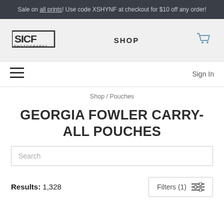Sale on all prints! Use code XSHYNF at checkout for $10 off any order!
[Figure (logo): SICF Photography logo in bold block letters]
SHOP
[Figure (illustration): Shopping cart icon]
Sign In
Shop / Pouches
GEORGIA FOWLER CARRY-ALL POUCHES
Search
Results: 1,328
Filters (1)